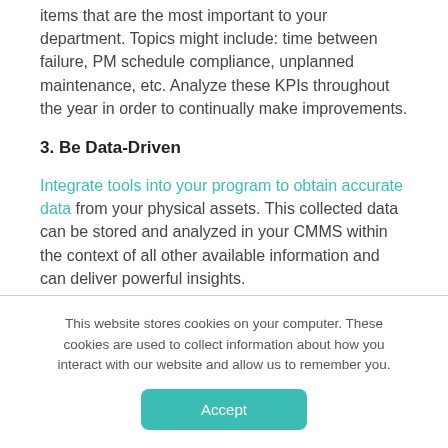items that are the most important to your department. Topics might include: time between failure, PM schedule compliance, unplanned maintenance, etc. Analyze these KPIs throughout the year in order to continually make improvements.
3. Be Data-Driven
Integrate tools into your program to obtain accurate data from your physical assets. This collected data can be stored and analyzed in your CMMS within the context of all other available information and can deliver powerful insights.
This website stores cookies on your computer. These cookies are used to collect information about how you interact with our website and allow us to remember you.
Accept